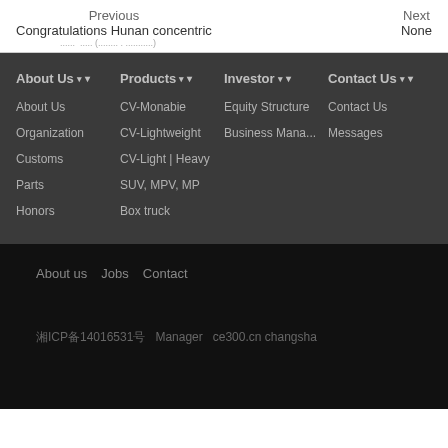Previous | Next
Congratulations Hunan concentric | None
About Us ▾  Products ▾  Investor ▾  Contact Us ▾
About Us
CV-Monabie
Equity Structure
Contact Us
Organization
CV-Lightweight
Business Mana...
Messages
Customs
CV-Light | Heavy
Parts
SUV, MPV, MP
Honors
Box truck
About us   Jobs   Contact
湘ICP备14016531号   Manager   ce300.cn changsha